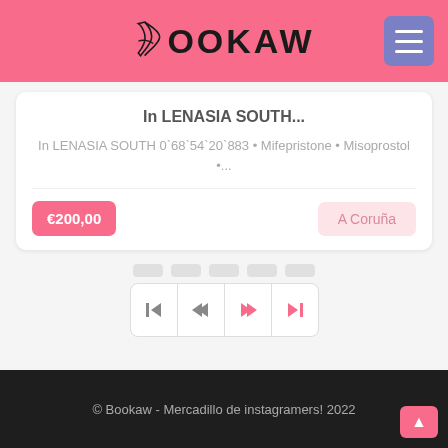BOOKAW
In LENASIA SOUTH...
In LENASIA SOUTH 0`68`54`20`883 • Mifepristone • Misoprostol •...
€200,00
A Coruña
[Figure (other): Pagination navigation bar with four buttons: skip to first, previous, next, skip to last. The next and last buttons are highlighted in pink/salmon color.]
© Bookaw - Mercadillo de instagramers! 2022